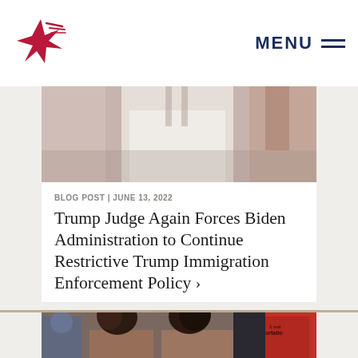MENU
[Figure (photo): Top photo strip showing partial view of people, cropped torso/mid section visible]
BLOG POST | JUNE 13, 2022
Trump Judge Again Forces Biden Administration to Continue Restrictive Trump Immigration Enforcement Policy ›
[Figure (photo): Two women leaning on each other in distress at an immigration protest, person in red jacket with 'deportation' text visible in background]